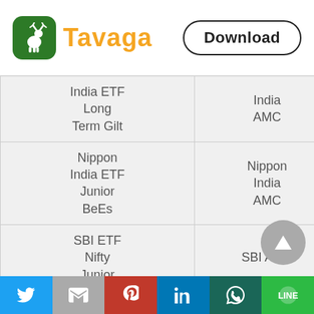[Figure (logo): Tavaga logo with green deer icon and orange text, plus Download button]
| Fund Name | AMC | Date |
| --- | --- | --- |
| India ETF Long Term Gilt | India AMC |  |
| Nippon India ETF Junior BeEs | Nippon India AMC | JUI |
| SBI ETF Nifty Junior | SBI AMC | S |
| Nippon India ETF | Nippon India |  |
Twitter | Gmail | Pinterest | LinkedIn | WhatsApp | Line